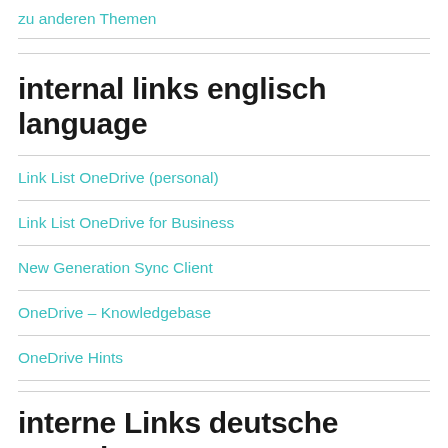zu anderen Themen
internal links englisch language
Link List OneDrive (personal)
Link List OneDrive for Business
New Generation Sync Client
OneDrive – Knowledgebase
OneDrive Hints
interne Links deutsche Sprache